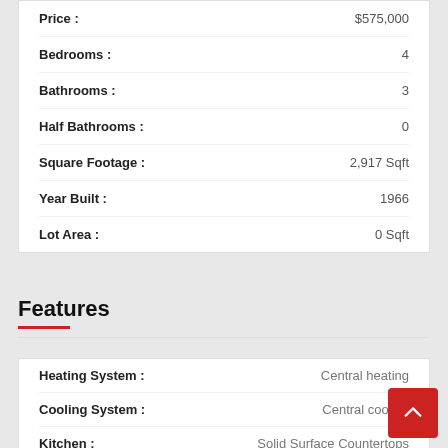| Property | Value |
| --- | --- |
| Price : | $575,000 |
| Bedrooms : | 4 |
| Bathrooms : | 3 |
| Half Bathrooms : | 0 |
| Square Footage : | 2,917 Sqft |
| Year Built : | 1966 |
| Lot Area : | 0 Sqft |
Features
| Feature | Value |
| --- | --- |
| Heating System : | Central heating |
| Cooling System : | Central cooling |
| Kitchen : | Solid Surface Countertops |
| Interior Amenities : |  |